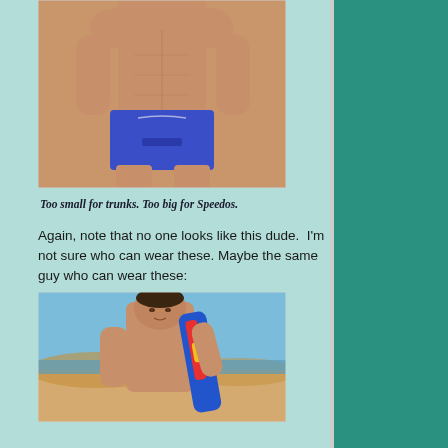[Figure (photo): Muscular man wearing blue swim shorts/trunks, shirtless, upper body and waist visible against white background]
Too small for trunks. Too big for Speedos.
Again, note that no one looks like this dude.  I'm not sure who can wear these. Maybe the same guy who can wear these:
[Figure (photo): Athletic man shirtless on a beach, holding a surfboard with colorful design, blue sky and sandy beach in background]